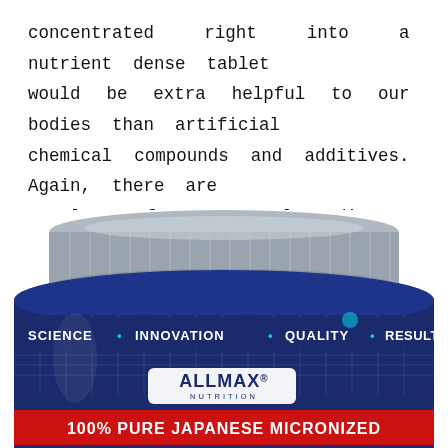concentrated right into a nutrient dense tablet would be extra helpful to our bodies than artificial chemical compounds and additives. Again, there are a lot of super-meals dietary supplements within the marketplace.
[Figure (photo): A blue supplement container with a silver lid. The label reads 'SCIENCE • INNOVATION • QUALITY • RESULTS' and 'ALLMAX NUTRITION' with '100% PURE JAPANESE MICRONIZED' at the bottom.]